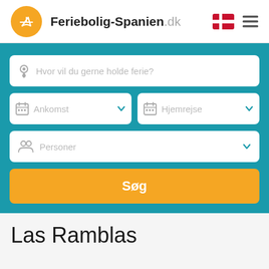[Figure (logo): Feriebolig-Spanien.dk website header with orange circle logo containing a beach chair, site name, Danish flag icon, and hamburger menu icon]
[Figure (screenshot): Search form on teal/turquoise background with fields: location search bar 'Hvor vil du gerne holde ferie?', Ankomst (arrival) date picker, Hjemrejse (departure) date picker, Personer (persons) selector, and orange Søg (search) button]
Las Ramblas